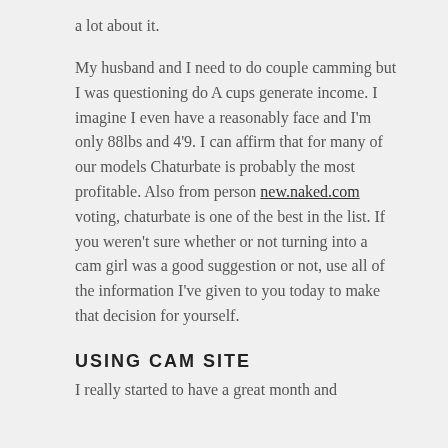a lot about it.
My husband and I need to do couple camming but I was questioning do A cups generate income. I imagine I even have a reasonably face and I'm only 88lbs and 4'9. I can affirm that for many of our models Chaturbate is probably the most profitable. Also from person new.naked.com voting, chaturbate is one of the best in the list. If you weren't sure whether or not turning into a cam girl was a good suggestion or not, use all of the information I've given to you today to make that decision for yourself.
USING CAM SITE
I really started to have a great month and